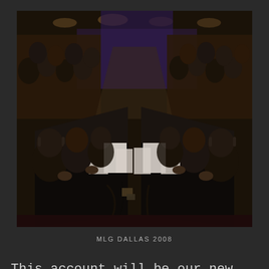[Figure (photo): An esports gaming event, MLG Dallas 2008, showing rows of gamers on both sides of long tables covered in black cloth, playing on gaming setups (consoles/monitors) in a large arena/convention hall setting with overhead lighting and a large crowd watching in the background.]
MLG DALLAS 2008
This account will be our new home base for all esports news, events, partnerships, and